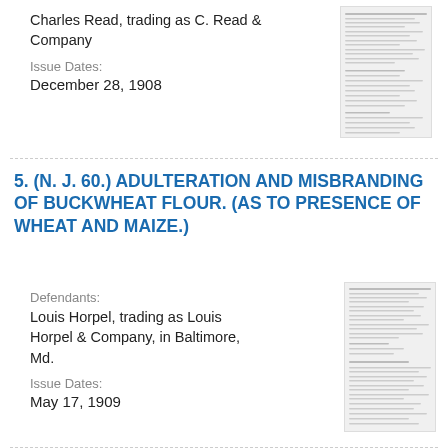Charles Read, trading as C. Read & Company
Issue Dates:
December 28, 1908
[Figure (screenshot): Thumbnail image of a legal document page]
5. (N. J. 60.) ADULTERATION AND MISBRANDING OF BUCKWHEAT FLOUR. (AS TO PRESENCE OF WHEAT AND MAIZE.)
Defendants:
Louis Horpel, trading as Louis Horpel & Company, in Baltimore, Md.
Issue Dates:
May 17, 1909
[Figure (screenshot): Thumbnail image of a legal document page]